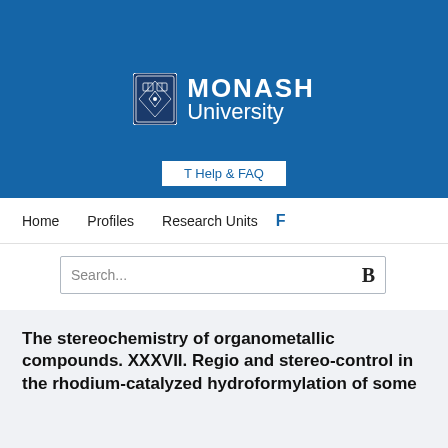[Figure (logo): Monash University logo with crest and wordmark in white on blue background]
T Help & FAQ
Home   Profiles   Research Units   F
Search...
The stereochemistry of organometallic compounds. XXXVII. Regio and stereo-control in the rhodium-catalyzed hydroformylation of some